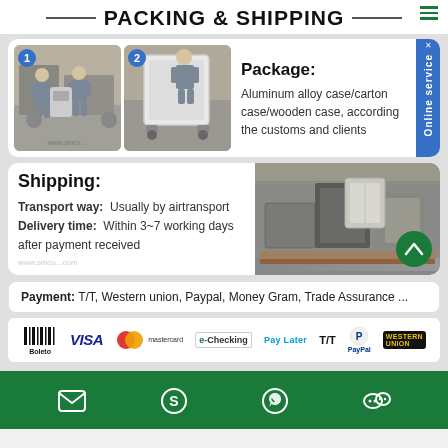PACKING & SHIPPING
[Figure (photo): Two photos showing workers handling and packing industrial equipment in a factory. Photo 1: Two workers carrying equipment. Photo 2: Worker handling a large case.]
Package: Aluminum alloy case/carton case/wooden case, according the customs and clients
Shipping: Transport way: Usually by airtransport Delivery time: Within 3~7 working days after payment received
[Figure (photo): Shipping containers and packaged equipment in a warehouse/container]
Payment: T/T, Western union, Paypal, Money Gram, Trade Assurance ...
[Figure (infographic): Payment method logos: Boleto, VISA, Mastercard, e-Checking, Pay Later, T/T, PayPal, Western Union]
Contact icons: email, Skype, WhatsApp, WeChat